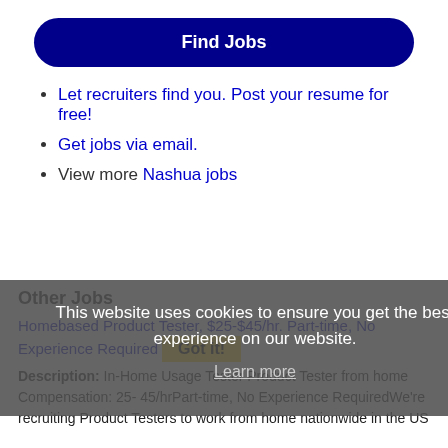Find Jobs
Let recruiters find you. Post your resume for free!
Get jobs via email.
View more Nashua jobs
This website uses cookies to ensure you get the best experience on our website. Learn more
Other Jobs
Homebased Product Tester, $25-$45/hr. Part-time, No Experience Required  Got it!
Description: In-Home Usage Tester Product Tester from home Compensation: 25- 45/hrPart-time, No Experience RequiredWe're recruiting Product Testers to work from home nationwide in the US